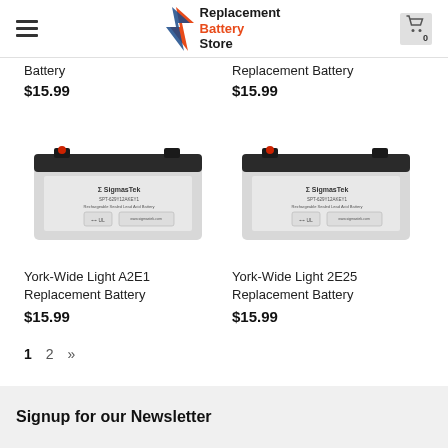Replacement Battery Store
Battery
$15.99
Replacement Battery
$15.99
[Figure (photo): SigmasTek 6V replacement battery product photo - grey rectangular battery with black top]
[Figure (photo): SigmasTek 6V replacement battery product photo - grey rectangular battery with black top]
York-Wide Light A2E1 Replacement Battery
$15.99
York-Wide Light 2E25 Replacement Battery
$15.99
1  2  »
Signup for our Newsletter